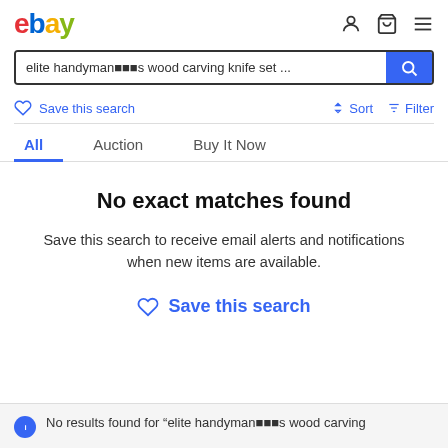[Figure (screenshot): eBay logo in top left with colored letters: e(red), b(blue), a(yellow), y(green)]
elite handyman■■■s wood carving knife set ...
Save this search
Sort
Filter
All
Auction
Buy It Now
No exact matches found
Save this search to receive email alerts and notifications when new items are available.
Save this search
No results found for “elite handyman■■■s wood carving